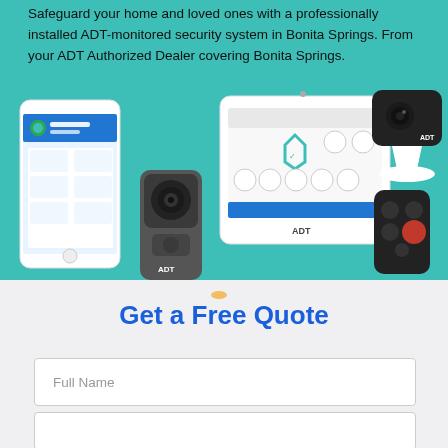Safeguard your home and loved ones with a professionally installed ADT-monitored security system in Bonita Springs. From your ADT Authorized Dealer covering Bonita Springs.
[Figure (photo): ADT security system products on teal background: smartphone with ADT app showing 'Disarmed', ADT video doorbell camera, ADT touchscreen control panel, ADT indoor camera on white stand, and ADT key fob remote control.]
Get a Free Quote
Full Name